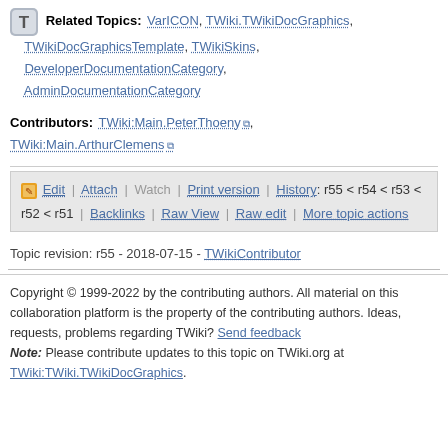Related Topics: VarICON, TWiki.TWikiDocGraphics, TWikiDocGraphicsTemplate, TWikiSkins, DeveloperDocumentationCategory, AdminDocumentationCategory
Contributors: TWiki:Main.PeterThoeny, TWiki:Main.ArthurClemens
Edit | Attach | Watch | Print version | History: r55 < r54 < r53 < r52 < r51 | Backlinks | Raw View | Raw edit | More topic actions
Topic revision: r55 - 2018-07-15 - TWikiContributor
Copyright © 1999-2022 by the contributing authors. All material on this collaboration platform is the property of the contributing authors. Ideas, requests, problems regarding TWiki? Send feedback Note: Please contribute updates to this topic on TWiki.org at TWiki:TWiki.TWikiDocGraphics.